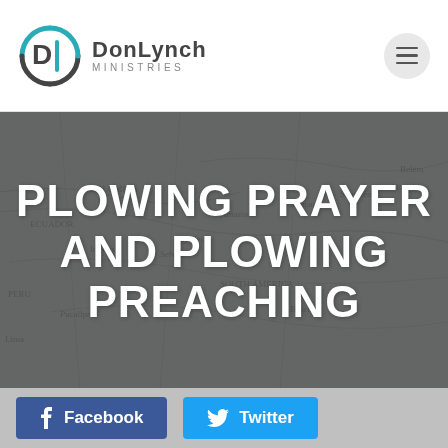[Figure (logo): Don Lynch Ministries logo with circular DL monogram icon in teal and dark colors, followed by the text DonLynch Ministries]
[Figure (photo): A blurred vintage map of South America (showing regions like Peru, Colombia, Amazon, Brazil) used as a hero background image with a dark overlay]
PLOWING PRAYER AND PLOWING PREACHING
[Figure (infographic): Two social media buttons: Facebook button (dark blue with f icon) and Twitter button (light blue with bird icon)]